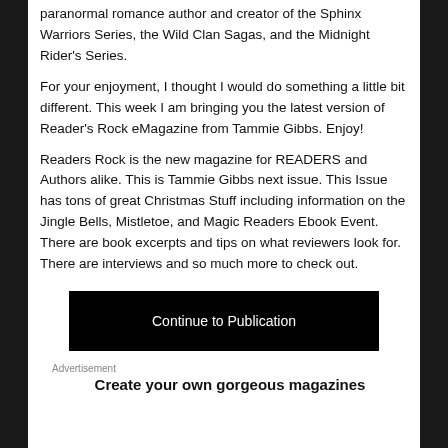paranormal romance author and creator of the Sphinx Warriors Series, the Wild Clan Sagas, and the Midnight Rider's Series.
For your enjoyment, I thought I would do something a little bit different. This week I am bringing you the latest version of Reader's Rock eMagazine from Tammie Gibbs. Enjoy!
Readers Rock is the new magazine for READERS and Authors alike. This is Tammie Gibbs next issue. This Issue has tons of great Christmas Stuff including information on the Jingle Bells, Mistletoe, and Magic Readers Ebook Event. There are book excerpts and tips on what reviewers look for. There are interviews and so much more to check out.
[Figure (other): Black button with white text reading 'Continue to Publication']
Advertisement
Create your own gorgeous magazines